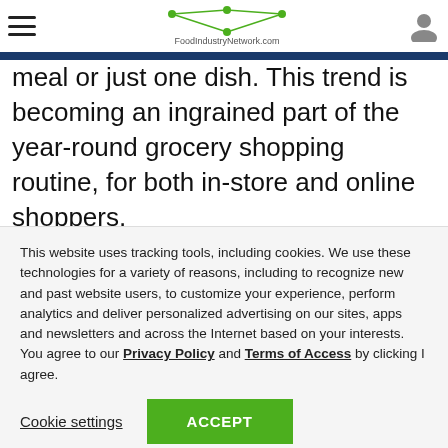FoodIndustryNetwork.com
meal or just one dish. This trend is becoming an ingrained part of the year-round grocery shopping routine, for both in-store and online shoppers.

But offering these foods poses many challenges for grocers, including gathering items from multiple
This website uses tracking tools, including cookies. We use these technologies for a variety of reasons, including to recognize new and past website users, to customize your experience, perform analytics and deliver personalized advertising on our sites, apps and newsletters and across the Internet based on your interests.
You agree to our Privacy Policy and Terms of Access by clicking I agree.
Cookie settings | ACCEPT